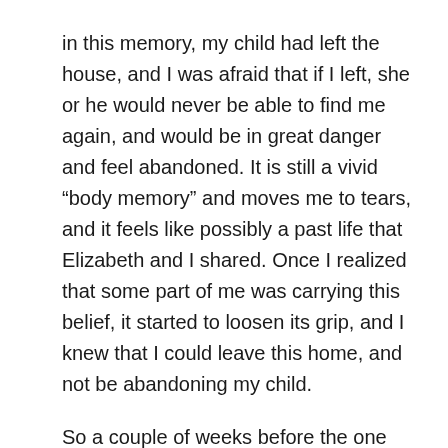in this memory, my child had left the house, and I was afraid that if I left, she or he would never be able to find me again, and would be in great danger and feel abandoned.  It is still a vivid “body memory” and moves me to tears, and it feels like possibly a past life that Elizabeth and I shared.  Once I realized that some part of me was carrying this belief, it started to loosen its grip, and I knew that I could leave this home, and not be abandoning my child.
So a couple of weeks before the one year anniversary, it became clear that the time has arrived for me to move to Hawai’i, and that there is great energetic support at this time.